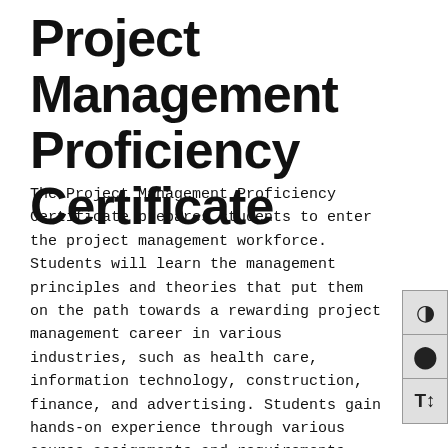Project Management Proficiency Certificate
The Project Management Proficiency Certificate prepares students to enter the project management workforce. Students will learn the management principles and theories that put them on the path towards a rewarding project management career in various industries, such as health care, information technology, construction, finance, and advertising. Students gain hands-on experience through various course assignments and requirements. The Project Management Proficiency Certificate offers courses that develop skills in project management, communications, agile project management, and organizational leadership. The courses in the certificate also apply towards the Business Leadership A.A.S. degree.
Upon completion of the certificate, students will be